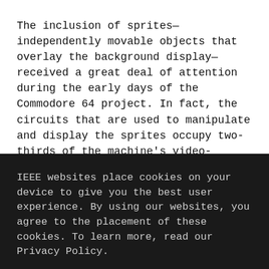The inclusion of sprites—independently movable objects that overlay the background display—received a great deal of attention during the early days of the Commodore 64 project. In fact, the circuits that are used to manipulate and display the sprites occupy two-thirds of the machine's video-display chip.
“In hindsight, it would have been better to put a little more bit-map capability into the machine, but we
IEEE websites place cookies on your device to give you the best user experience. By using our websites, you agree to the placement of these cookies. To learn more, read our Privacy Policy.
ACCEPT & CLOSE
VIEW PRIVACY POLICY